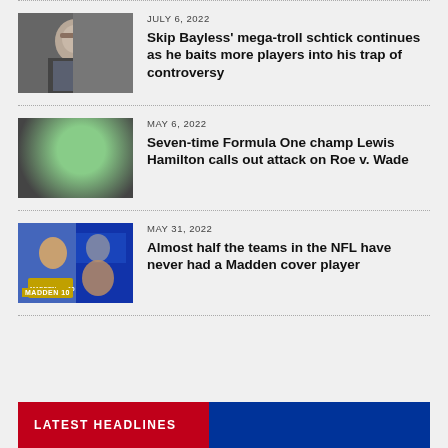JULY 6, 2022
Skip Bayless’ mega-troll schtick continues as he baits more players into his trap of controversy
[Figure (photo): Photo of Skip Bayless, man in suit]
MAY 6, 2022
Seven-time Formula One champ Lewis Hamilton calls out attack on Roe v. Wade
[Figure (photo): Photo of Lewis Hamilton in green jacket]
MAY 31, 2022
Almost half the teams in the NFL have never had a Madden cover player
[Figure (photo): Madden NFL 10 video game cover]
LATEST HEADLINES